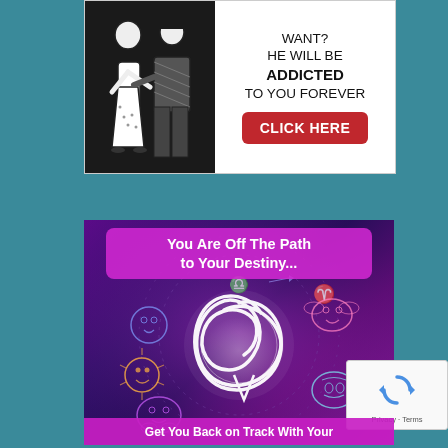[Figure (illustration): Advertisement banner showing a retro black-and-white couple illustration on the left, with text 'HE WILL BE ADDICTED TO YOU FOREVER' and a red 'CLICK HERE' button on the right. Top of ad partly cut off showing 'WANT?']
[Figure (illustration): Advertisement banner with purple/magenta cosmic background. Text at top says 'You Are Off The Path to Your Destiny...' with a glowing white Celtic-style knot symbol in center surrounded by zodiac signs. Bottom text reads 'Get You Back on Track With Your']